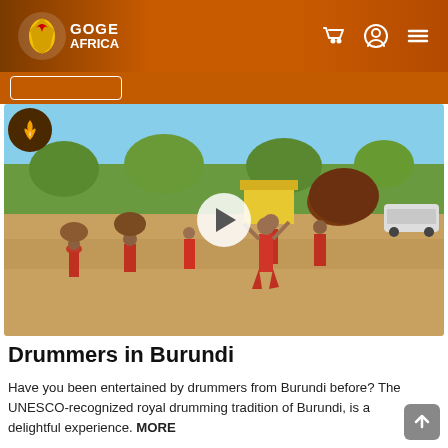GOGE AFRICA
[Figure (screenshot): Video thumbnail showing Burundi drummers in red outfits carrying large drums on their heads while marching on a sandy ground. A white circular play button is overlaid in the center. A flame icon badge is in the top-left corner. An NGN currency badge is on the right side.]
Drummers in Burundi
Have you been entertained by drummers from Burundi before? The UNESCO-recognized royal drumming tradition of Burundi, is a delightful experience. MORE